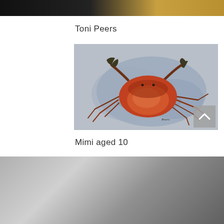[Figure (photo): Top edge of a photo, appears dark with warm golden light on the right side]
Toni Peers
[Figure (photo): Watercolor painting of a crab with reddish-brown body, dark claws, and multiple legs on a grey-blue background, signed 'Peers' in the lower right]
Mimi aged 10
[Figure (photo): Bottom edge of a photo showing a silvery metallic or reflective surface with dark areas]